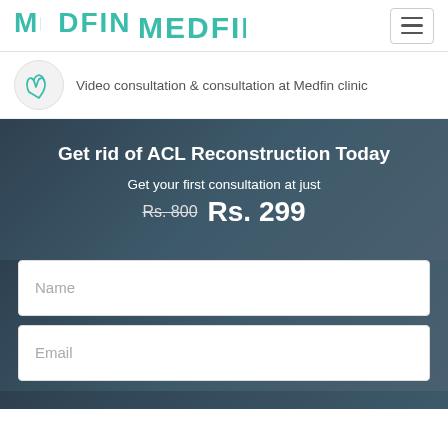[Figure (logo): MEDFIN logo in teal/green color with stylized letter M and E]
[Figure (illustration): Hands icon in a circle representing consultation]
Video consultation & consultation at Medfin clinic
Get rid of ACL Reconstruction Today
Get your first consultation at just Rs. 800 Rs. 299
Name
Email